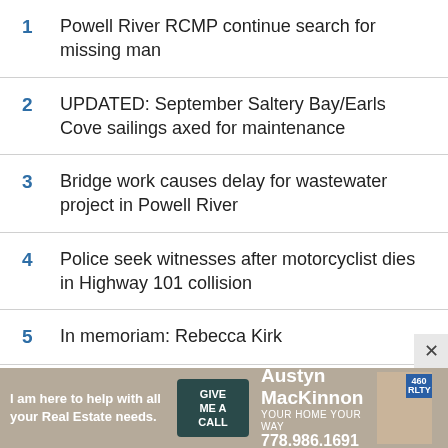1  Powell River RCMP continue search for missing man
2  UPDATED: September Saltery Bay/Earls Cove sailings axed for maintenance
3  Bridge work causes delay for wastewater project in Powell River
4  Police seek witnesses after motorcyclist dies in Highway 101 collision
5  In memoriam: Rebecca Kirk
[Figure (infographic): Advertisement banner for Austyn MacKinnon Real Estate, 778.986.1691, with photo and logo]